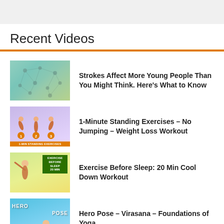Recent Videos
Strokes Affect More Young People Than You Might Think. Here's What to Know
1-Minute Standing Exercises – No Jumping – Weight Loss Workout
Exercise Before Sleep: 20 Min Cool Down Workout
Hero Pose – Virasana – Foundations of Yoga